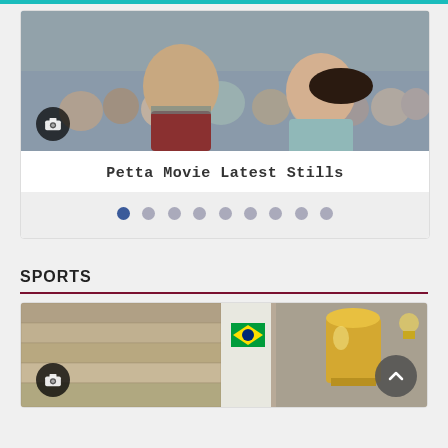[Figure (photo): Movie still showing two actors in a crowd scene — man with beard and woman with dark hair, both smiling. Camera icon overlay at bottom-left.]
Petta Movie Latest Stills
[Figure (infographic): Pagination dots — 9 dots, first one dark blue (active), rest gray.]
SPORTS
[Figure (photo): Sports-related image showing a Brazilian flag on a pillar, stone wall background, and partially visible sports trophy/bell shape. Camera icon overlay at bottom-left, scroll-to-top button at bottom-right.]